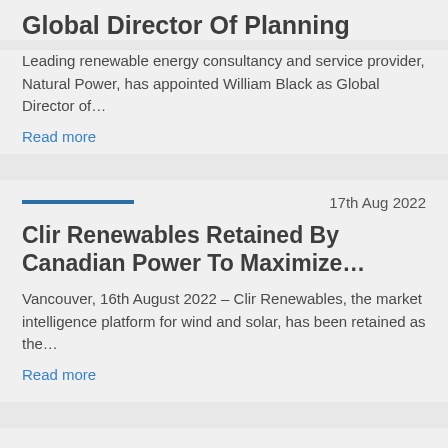Global Director Of Planning
Leading renewable energy consultancy and service provider, Natural Power, has appointed William Black as Global Director of…
Read more
17th Aug 2022
Clir Renewables Retained By Canadian Power To Maximize…
Vancouver, 16th August 2022 – Clir Renewables, the market intelligence platform for wind and solar, has been retained as the…
Read more